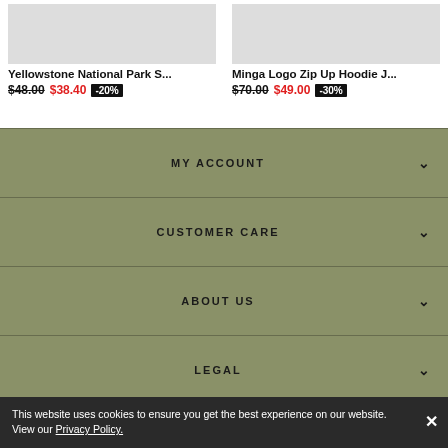Yellowstone National Park S...
$48.00  $38.40  -20%
Minga Logo Zip Up Hoodie J...
$70.00  $49.00  -30%
MY ACCOUNT
CUSTOMER CARE
ABOUT US
LEGAL
[Figure (other): Social media icons: Instagram, Facebook, Pinterest, Spotify, TikTok]
This website uses cookies to ensure you get the best experience on our website. View our Privacy Policy.